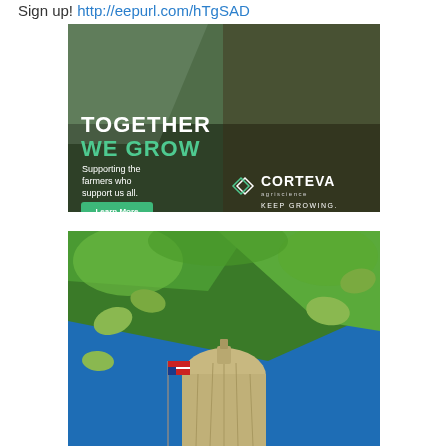Sign up! http://eepurl.com/hTgSAD
[Figure (photo): Corteva Agriscience advertisement showing two people in a farm field. Text overlay reads 'TOGETHER WE GROW Supporting the farmers who support us all.' with a 'Learn More' button and the Corteva Agriscience logo with 'KEEP GROWING.' tagline.]
[Figure (photo): Advertisement image showing green almond branches with almonds in the foreground against a blue sky, with a government building dome and an American flag in the background.]